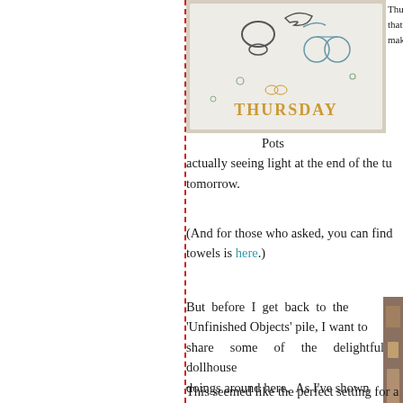[Figure (photo): Embroidered dish towel showing Thursday day-of-week design with text THURSDAY in gold embroidery and decorative motifs]
Thur that maki Pots actually seeing light at the end of the tu tomorrow.
(And for those who asked, you can find towels is here.)
But before I get back to the 'Unfinished Objects' pile, I want to share some of the delightful dollhouse doings around here.  As I've shown you, dollhouses can take many forms.  They can be as simple as a twig & moss structure from the garden (for fairies of coarse), fashioned kit like this Victorian dollhouse that I'd pr
[Figure (photo): Partial view of a Victorian dollhouse or similar structure on right side]
This seemed like the perfect setting for a